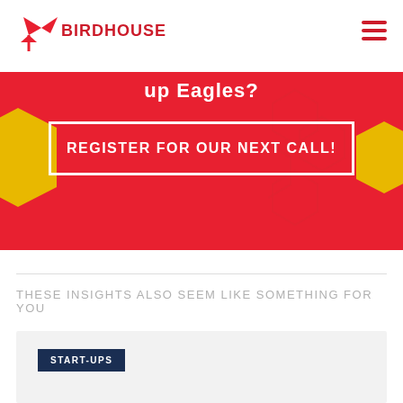BIRDHOUSE
[Figure (screenshot): Red banner with hexagon decorations, a CTA button with border labeled REGISTER FOR OUR NEXT CALL!, partial title text 'up Eagles?' visible at top]
THESE INSIGHTS ALSO SEEM LIKE SOMETHING FOR YOU
[Figure (screenshot): Light grey card area with dark navy START-UPS label tag]